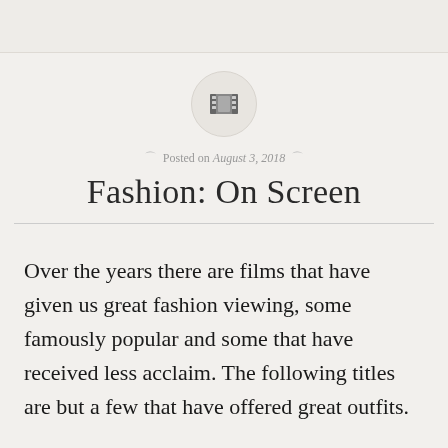[Figure (illustration): A circular icon with a film strip/movie reel symbol in dark gray on a light gray background]
Posted on August 3, 2018
Fashion: On Screen
Over the years there are films that have given us great fashion viewing, some famously popular and some that have received less acclaim. The following titles are but a few that have offered great outfits.